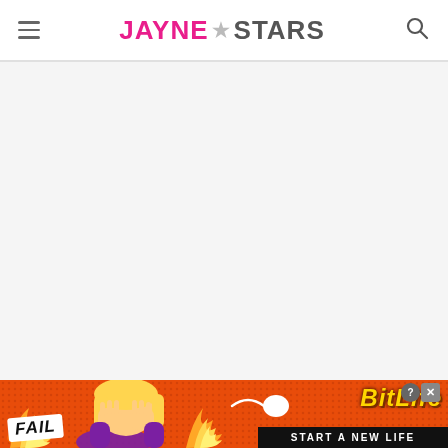Jayne Stars
[Figure (screenshot): Blank white/grey main content area of a website]
[Figure (infographic): BitLife mobile game advertisement banner with orange/red background, FAIL badge, cartoon character facepalming, flames, sperm icon, BitLife logo, and 'Start a New Life' tagline]